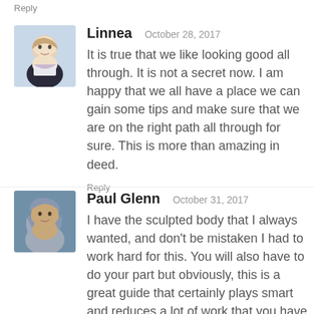Reply
Linnea   October 28, 2017
It is true that we like looking good all through. It is not a secret now. I am happy that we all have a place we can gain some tips and make sure that we are on the right path all through for sure. This is more than amazing in deed.
Reply
Paul Glenn   October 31, 2017
I have the sculpted body that I always wanted, and don't be mistaken I had to work hard for this. You will also have to do your part but obviously, this is a great guide that certainly plays smart and reduces a lot of work that you have to do, instead use efficient planning.